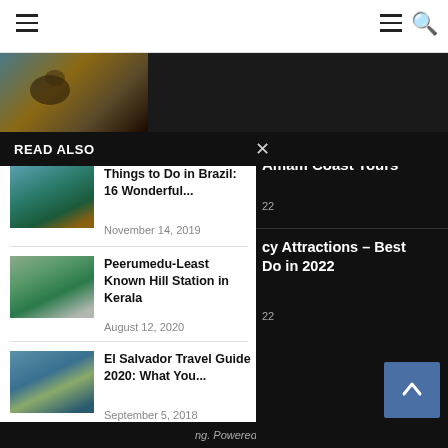Navigation bar with hamburger menus and search icon
[Figure (photo): Partial hero image strip showing a person with dark background]
READ ALSO
[Figure (photo): Thumbnail image of Brazil landscape with green water and cliffs]
Things to Do in Brazil: 16 Wonderful...
November 14, 2019
[Figure (photo): Thumbnail image of Peerumedu misty green hills]
Peerumedu-Least Known Hill Station in Kerala
August 12, 2020
[Figure (photo): Thumbnail image of El Salvador coastal cliffs]
El Salvador Travel Guide 2020: What You...
September 5, 2018
Amalfi Coast Tours
22
cy Attractions – Best Do in 2022
22
ng. Powered by WordPress